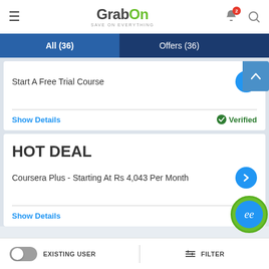[Figure (screenshot): GrabOn app header with hamburger menu, logo, notification bell with badge '2', and search icon]
All (36)
Offers (36)
Start A Free Trial Course
Show Details
Verified
HOT DEAL
Coursera Plus - Starting At Rs 4,043 Per Month
Show Details
Ve...
EXISTING USER
FILTER